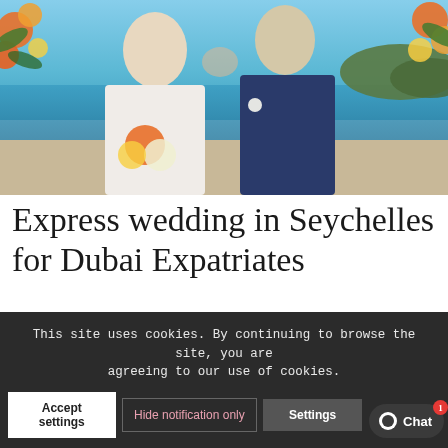[Figure (photo): A bride and groom kissing on a beach in the Seychelles. The bride wears a white strapless dress and holds orange and white tropical flowers. The groom wears a navy blue suit with a white boutonniere. Tropical flowers frame the sides and a turquoise ocean and green island hills appear in the background.]
Express wedding in Seychelles for Dubai Expatriates
1 Comment / 10 October 2017
This site uses cookies. By continuing to browse the site, you are agreeing to our use of cookies.